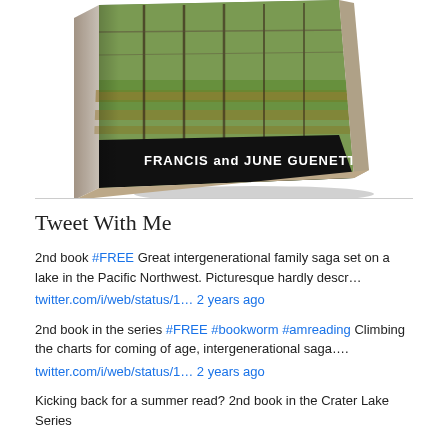[Figure (photo): A 3D book cover showing a vineyard/garden photo with text 'FRANCIS and JUNE GUENETTE' on a black band at the bottom of the cover. The book is shown at an angle with visible spine.]
Tweet With Me
2nd book #FREE Great intergenerational family saga set on a lake in the Pacific Northwest. Picturesque hardly descr…
twitter.com/i/web/status/1… 2 years ago
2nd book in the series #FREE #bookworm #amreading Climbing the charts for coming of age, intergenerational saga….
twitter.com/i/web/status/1… 2 years ago
Kicking back for a summer read? 2nd book in the Crater Lake Series